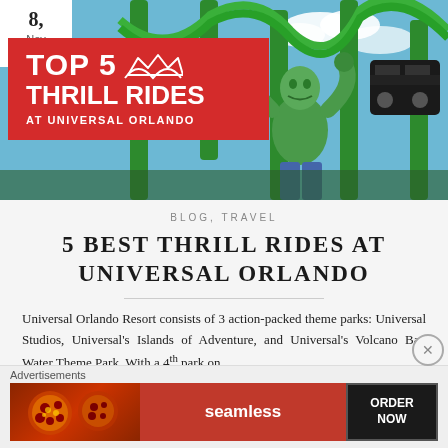[Figure (photo): Hero image of the Incredible Hulk roller coaster at Universal Orlando with a Hulk statue/figure visible against a blue sky, green roller coaster track in background]
8, Nov 2019
TOP 5 THRILL RIDES AT UNIVERSAL ORLANDO
BLOG, TRAVEL
5 BEST THRILL RIDES AT UNIVERSAL ORLANDO
Universal Orlando Resort consists of 3 action-packed theme parks: Universal Studios, Universal's Islands of Adventure, and Universal's Volcano Bay Water Theme Park. With a 4th park on
[Figure (infographic): Advertisements banner - Seamless food delivery ad showing pizza image, Seamless logo, and ORDER NOW button]